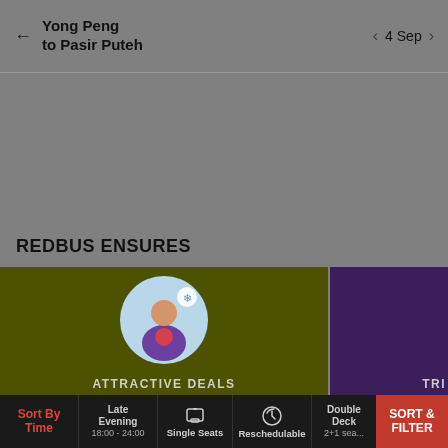Yong Peng to Pasir Puteh   4 Sep
REDBUS ENSURES
[Figure (infographic): Olive-green card with a circular illustration of a person holding something, with a snowflake icon. Text at bottom reads ATTRACTIVE DEALS.]
[Figure (infographic): Dark purple card partially visible, with text TRI... at bottom right.]
Sort By Time | Late Evening 18:00 - 24:00 | Single Seats | Reschedulable | Double Deck 2+1 sea... | SORT & FILTER